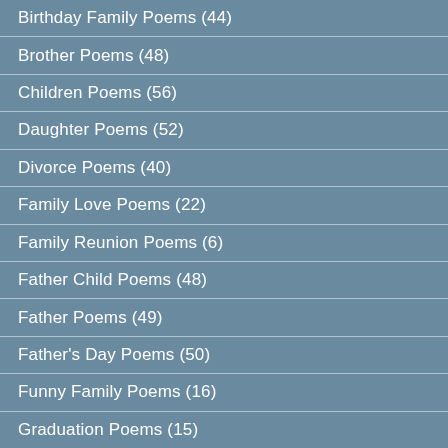Birthday Family Poems (44)
Brother Poems (48)
Children Poems (56)
Daughter Poems (52)
Divorce Poems (40)
Family Love Poems (22)
Family Reunion Poems (6)
Father Child Poems (48)
Father Poems (49)
Father's Day Poems (50)
Funny Family Poems (16)
Graduation Poems (15)